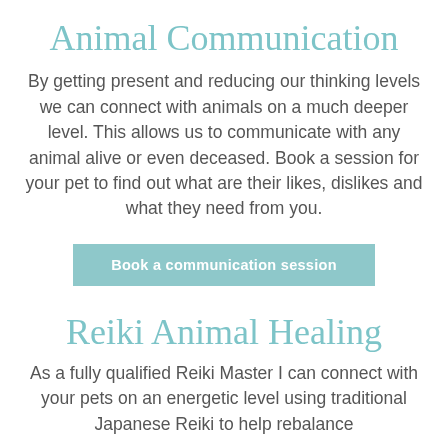Animal Communication
By getting present and reducing our thinking levels we can connect with animals on a much deeper level. This allows us to communicate with any animal alive or even deceased. Book a session for your pet to find out what are their likes, dislikes and what they need from you.
Book a communication session
Reiki Animal Healing
As a fully qualified Reiki Master I can connect with your pets on an energetic level using traditional Japanese Reiki to help rebalance